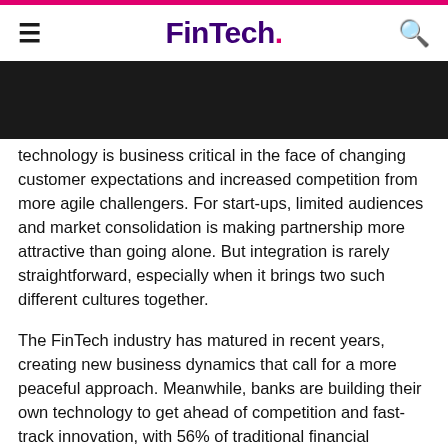FinTech.
technology is business critical in the face of changing customer expectations and increased competition from more agile challengers. For start-ups, limited audiences and market consolidation is making partnership more attractive than going alone. But integration is rarely straightforward, especially when it brings two such different cultures together.
The FinTech industry has matured in recent years, creating new business dynamics that call for a more peaceful approach. Meanwhile, banks are building their own technology to get ahead of competition and fast-track innovation, with 56% of traditional financial institutions having put disruption at the heart of their strategy, according to the UK Department for International Trade's UK FinTech State of the Nation